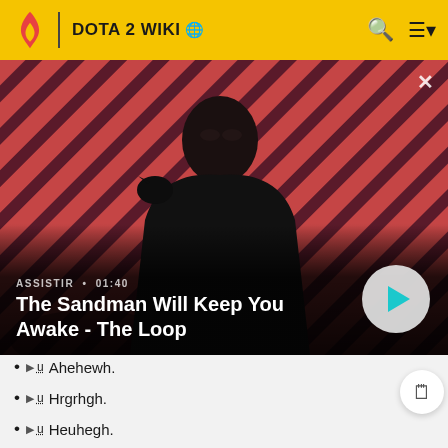DOTA 2 WIKI
[Figure (photo): Hero image for 'The Sandman Will Keep You Awake - The Loop' showing a pale dark-haired man in a black cape with a crow on his shoulder, against a red and dark diagonal striped background. Duration shown: 01:40. Play button visible.]
The Sandman Will Keep You Awake - The Loop
Ahehewh.
Hrgrhgh.
Heuhegh.
Heeearh.
Heearhhhh.